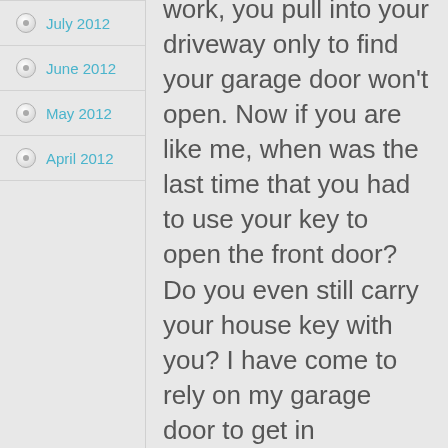July 2012
June 2012
May 2012
April 2012
After a long day at work, you pull into your driveway only to find your garage door won't open.  Now if you are like me, when was the last time that you had to use your key to open the front door?  Do you even still carry your house key with you?  I have come to rely on my garage door to get in